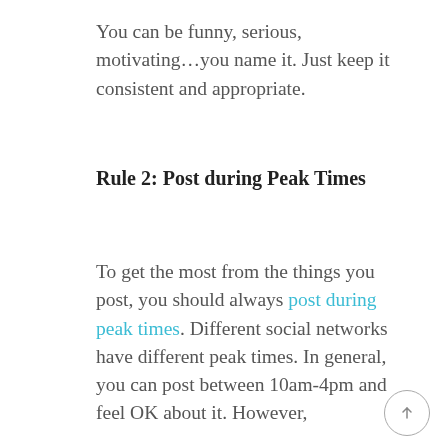You can be funny, serious, motivating…you name it. Just keep it consistent and appropriate.
Rule 2: Post during Peak Times
To get the most from the things you post, you should always post during peak times. Different social networks have different peak times. In general, you can post between 10am-4pm and feel OK about it. However,